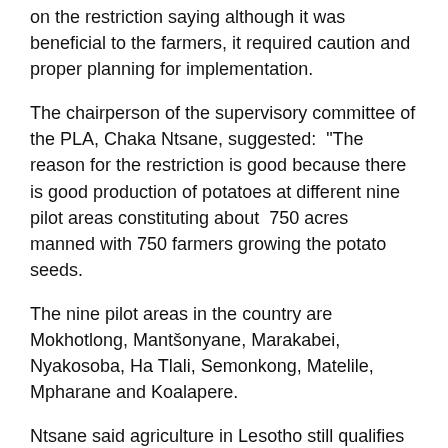on the restriction saying although it was beneficial to the farmers, it required caution and proper planning for implementation.
The chairperson of the supervisory committee of the PLA, Chaka Ntsane, suggested:  “The reason for the restriction is good because there is good production of potatoes at different nine pilot areas constituting about  750 acres manned with 750 farmers growing the potato seeds.
The nine pilot areas in the country are Mokhotlong, Mantšonyane, Marakabei, Nyakosoba, Ha Tlali, Semonkong, Matelile, Mpharane and Koalapere.
Ntsane said agriculture in Lesotho still qualifies as an infant industry, but particularly potato production is also on the growth path.